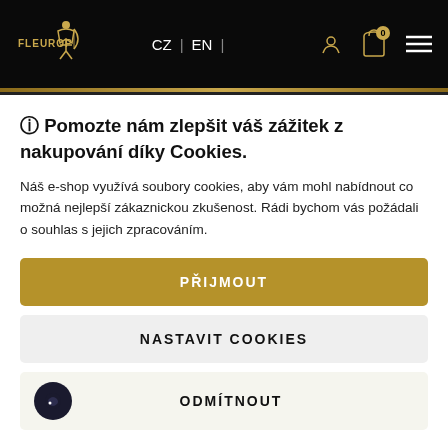FLEUROP | CZ | EN
🛈 Pomozte nám zlepšit váš zážitek z nakupování díky Cookies.
Náš e-shop využívá soubory cookies, aby vám mohl nabídnout co možná nejlepší zákaznickou zkušenost. Rádi bychom vás požádali o souhlas s jejich zpracováním.
PŘIJMOUT
NASTAVIT COOKIES
ODMÍTNOUT